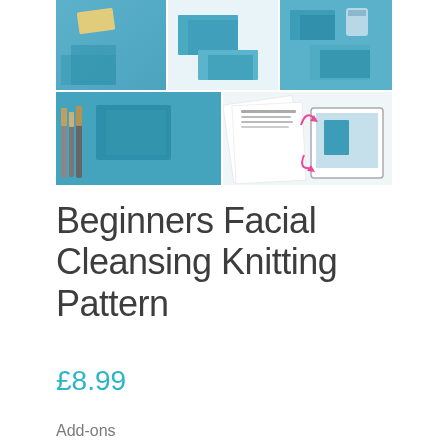[Figure (photo): Product photo grid showing teal/blue knitted facial cleansing pads in 5 images: top row has three photos (pads with soap bar, folded pads on white surface, pads with accessories), bottom row has two photos (pads with makeup brushes, printed knitting pattern pages with pink arrows)]
Beginners Facial Cleansing Knitting Pattern
£8.99
Add-ons